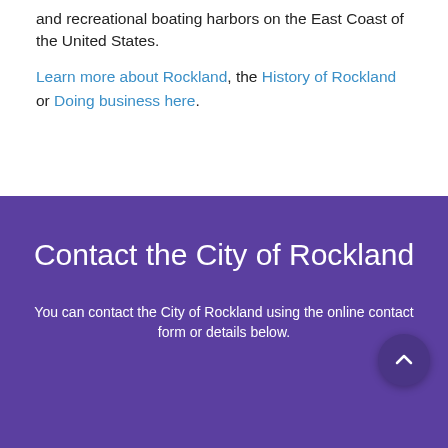and recreational boating harbors on the East Coast of the United States.
Learn more about Rockland, the History of Rockland or Doing business here.
Contact the City of Rockland
You can contact the City of Rockland using the online contact form or details below.